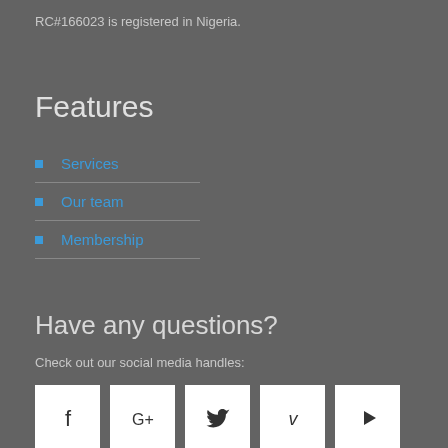RC#166023 is registered in Nigeria.
Features
Services
Our team
Membership
Have any questions?
Check out our social media handles:
[Figure (infographic): Row of 5 social media icon buttons (Facebook, Google+, Twitter, Vimeo, YouTube) as white squares with dark icons]